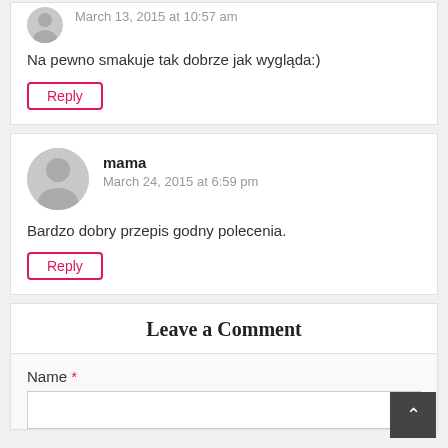March 13, 2015 at 10:57 am
Na pewno smakuje tak dobrze jak wygląda:)
Reply
mama
March 24, 2015 at 6:59 pm
Bardzo dobry przepis godny polecenia.
Reply
Leave a Comment
Name *